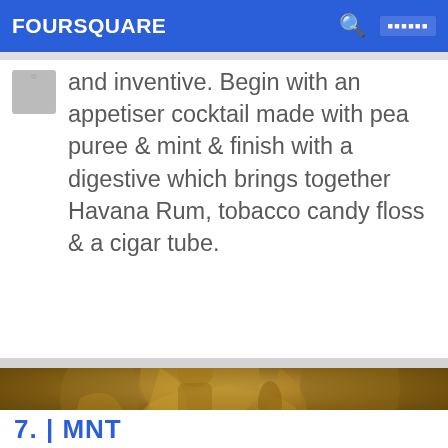FOURSQUARE
and inventive. Begin with an appetiser cocktail made with pea puree & mint & finish with a digestive which brings together Havana Rum, tobacco candy floss & a cigar tube.
[Figure (photo): Classical painting or relief artwork in sepia/golden tones showing multiple figures in a dramatic scene]
7. | MNT